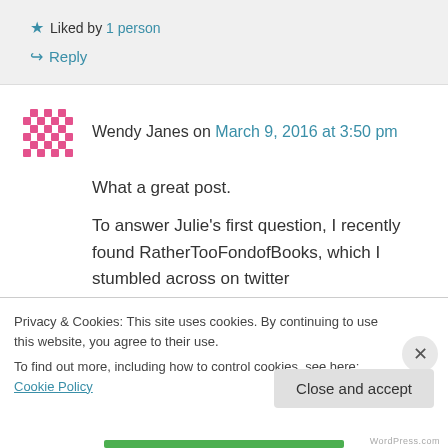★ Liked by 1 person
↪ Reply
Wendy Janes on March 9, 2016 at 3:50 pm
What a great post.
To answer Julie's first question, I recently found RatherTooFondofBooks, which I stumbled across on twitter (@hayleysbookblog). Excellent choices of books and interesting reviews.
Privacy & Cookies: This site uses cookies. By continuing to use this website, you agree to their use.
To find out more, including how to control cookies, see here: Cookie Policy
Close and accept